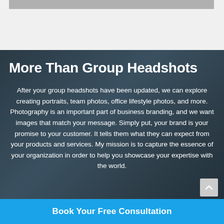[Figure (photo): Dark semi-transparent overlay on a photographer/camera background image]
More Than Group Headshots
After your group headshots have been updated, we can explore creating portraits, team photos, office lifestyle photos, and more. Photography is an important part of business branding, and we want images that match your message. Simply put, your brand is your promise to your customer. It tells them what they can expect from your products and services. My mission is to capture the essence of your organization in order to help you showcase your expertise with the world.
Book Your Free Consultation